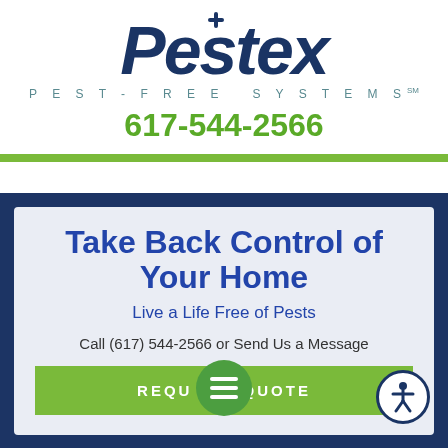[Figure (logo): Pestex logo with italic bold navy blue text and a cross/plus symbol on the letter t]
PEST-FREE SYSTEMS℠
617-544-2566
Take Back Control of Your Home
Live a Life Free of Pests
Call (617) 544-2566 or Send Us a Message
REQUEST QUOTE